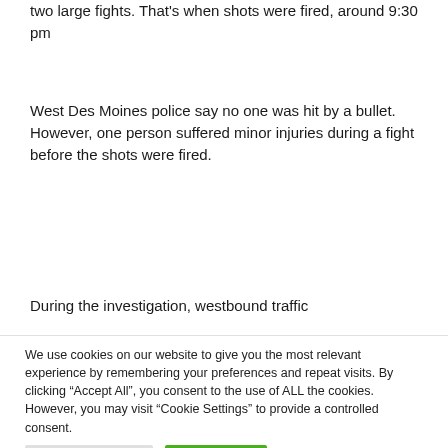two large fights. That's when shots were fired, around 9:30 pm
West Des Moines police say no one was hit by a bullet. However, one person suffered minor injuries during a fight before the shots were fired.
During the investigation, westbound traffic
We use cookies on our website to give you the most relevant experience by remembering your preferences and repeat visits. By clicking “Accept All”, you consent to the use of ALL the cookies. However, you may visit "Cookie Settings" to provide a controlled consent.